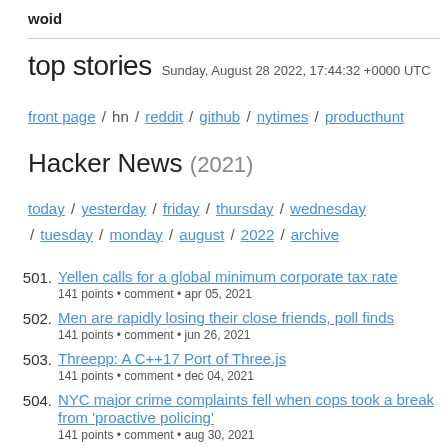woid
top stories  Sunday, August 28 2022, 17:44:32 +0000 UTC
front page / hn / reddit / github / nytimes / producthunt
Hacker News (2021)
today / yesterday / friday / thursday / wednesday / tuesday / monday / august / 2022 / archive
501. Yellen calls for a global minimum corporate tax rate
141 points • comment • apr 05, 2021
502. Men are rapidly losing their close friends, poll finds
141 points • comment • jun 26, 2021
503. Threepp: A C++17 Port of Three.js
141 points • comment • dec 04, 2021
504. NYC major crime complaints fell when cops took a break from 'proactive policing'
141 points • comment • aug 30, 2021